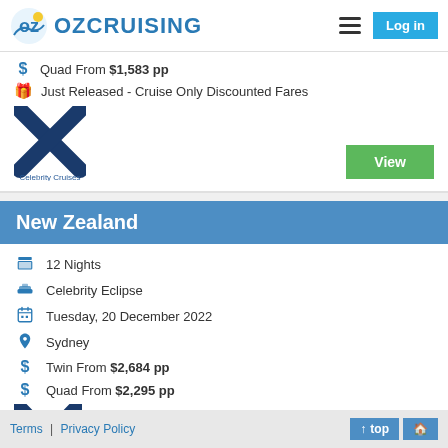OzCruising | Log in
Quad From $1,583 pp
Just Released - Cruise Only Discounted Fares
[Figure (logo): Celebrity Cruises logo - large blue X mark with text 'Celebrity Cruises' below]
New Zealand
12 Nights
Celebrity Eclipse
Tuesday, 20 December 2022
Sydney
Twin From $2,684 pp
Quad From $2,295 pp
[Figure (logo): Celebrity Cruises logo - large blue X mark]
Terms | Privacy Policy   ↑ top  🏠